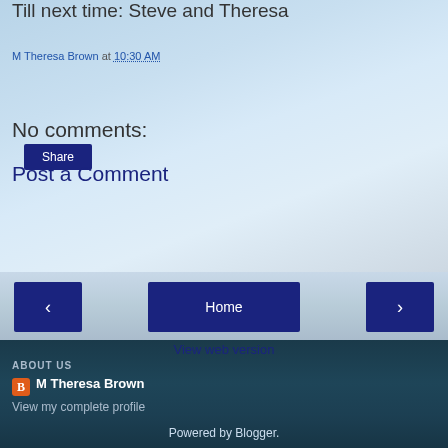Till next time: Steve and Theresa
M Theresa Brown at 10:30 AM
Share
No comments:
Post a Comment
< Home >
View web version
ABOUT US
M Theresa Brown
View my complete profile
Powered by Blogger.